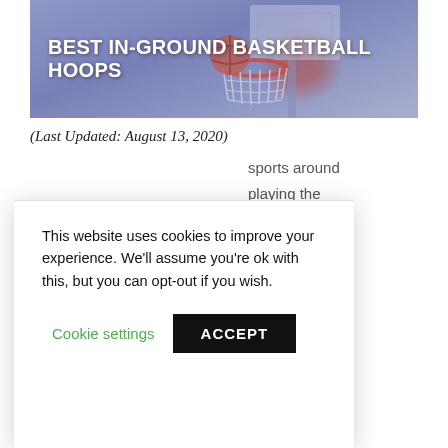[Figure (photo): Basketball hoop photo with backboard and net, purple-blue sky background, basketball visible near the hoop]
BEST IN-GROUND BASKETBALL HOOPS
(Last Updated: August 13, 2020)
sports around playing the ying in the players went nd training to , however, it
This website uses cookies to improve your experience. We'll assume you're ok with this, but you can opt-out if you wish.
Cookie settings   ACCEPT